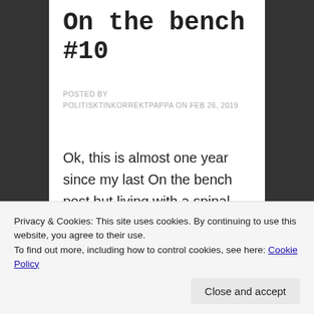On the bench #10
POSTED BY
POLITISKTINKORREKTPAPPA ON FEB 26, 2019
Ok, this is almost one year since my last On the bench post but living with a spinal injury can throw a bigger than usual spanner in the machinery
eyesight caused by various nerve
Privacy & Cookies: This site uses cookies. By continuing to use this website, you agree to their use.
To find out more, including how to control cookies, see here: Cookie Policy
Close and accept